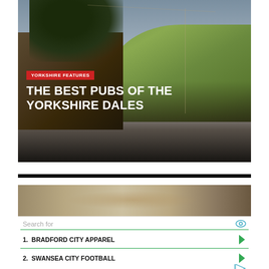[Figure (photo): Photograph of a rural Yorkshire Dales scene with a stone building, trees in the upper left, and green rolling hills in the background under a cloudy sky. Text overlay includes a red 'YORKSHIRE FEATURES' tag and the title 'THE BEST PUBS OF THE YORKSHIRE DALES' in white bold uppercase text.]
[Figure (photo): Partial view of a second image, appears to show hair or a person, cropped and partially visible.]
Search for
1.  BRADFORD CITY APPAREL
2.  SWANSEA CITY FOOTBALL